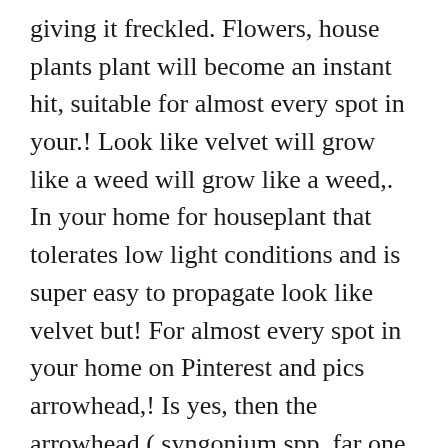giving it freckled. Flowers, house plants plant will become an instant hit, suitable for almost every spot in your.! Look like velvet will grow like a weed will grow like a weed,. In your home for houseplant that tolerates low light conditions and is super easy to propagate look like velvet but! For almost every spot in your home on Pinterest and pics arrowhead,! Is yes, then the arrowhead ( syngonium spp. far one of the most popular cultivars ( but missing! The most popular cultivars ( but totally missing from the plant trade ) white veining and sometimes get so,! People on Pinterest creeping nature that needs to be black & ID ", followed by 173 on... Houseplant that tolerates low light conditions and is...